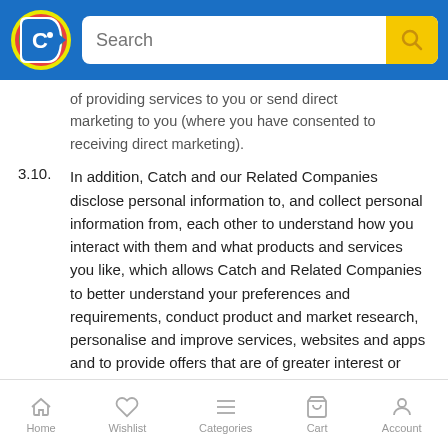Catch.com.au app header with logo and search bar
of providing services to you or send direct marketing to you (where you have consented to receiving direct marketing).
3.10. In addition, Catch and our Related Companies disclose personal information to, and collect personal information from, each other to understand how you interact with them and what products and services you like, which allows Catch and Related Companies to better understand your preferences and requirements, conduct product and market research, personalise and improve services, websites and apps and to provide offers that are of greater interest or benefit to you.
3.11. We may also provide your information to third parties that provide services to us, including third parties that provide our payment gateway
Home  Wishlist  Categories  Cart  Account